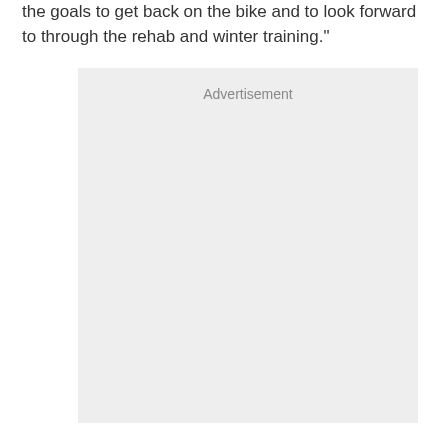the goals to get back on the bike and to look forward to through the rehab and winter training."
[Figure (other): Advertisement placeholder box with light gray background and 'Advertisement' label at top center]